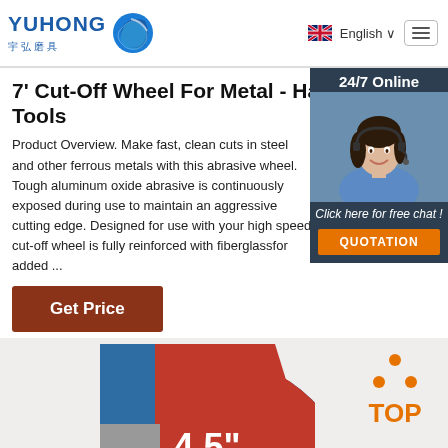[Figure (logo): Yuhong 宇弘磨具 logo with blue wave icon]
English ∨
7' Cut-Off Wheel For Metal - Harbor Freight Tools
[Figure (photo): Customer service agent with headset, 24/7 Online widget with 'Click here for free chat!' and QUOTATION button]
Product Overview. Make fast, clean cuts in steel and other ferrous metals with this abrasive wheel. Tough aluminum oxide abrasive is continuously exposed during use to maintain an aggressive cutting edge. Designed for use with your high speed cut-off wheel is fully reinforced with fiberglass for added ...
Get Price
[Figure (photo): Partial cut-off wheel showing 4.5" label, red and blue sections, with TOP navigation button at right]